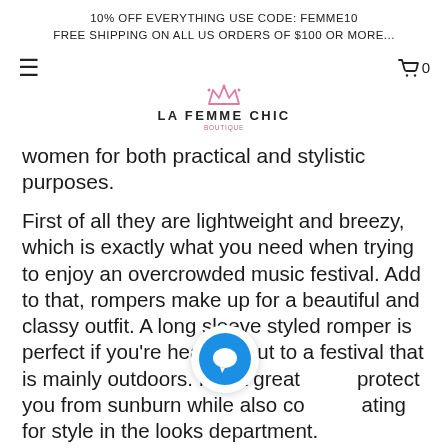10% OFF EVERYTHING USE CODE: FEMME10
FREE SHIPPING ON ALL US ORDERS OF $100 OR MORE...
[Figure (logo): La Femme Chic boutique logo with pink crown icon and brand name text]
women for both practical and stylistic purposes.
First of all they are lightweight and breezy, which is exactly what you need when trying to enjoy an overcrowded music festival. Add to that, rompers make up for a beautiful and classy outfit. A long sleeve styled romper is perfect if you're heading out to a festival that is mainly outdoors. It is a great [chat bubble] protect you from sunburn while also co[chat bubble]ating for style in the looks department.